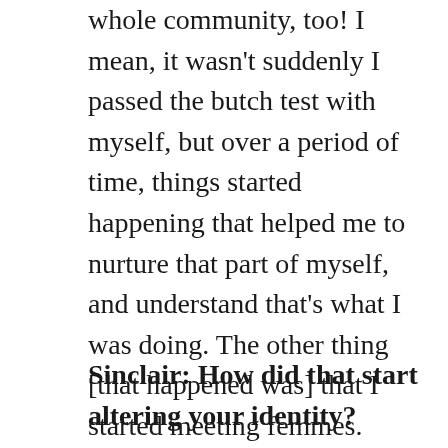whole community, too! I mean, it wasn't suddenly I passed the butch test with myself, but over a period of time, things started happening that helped me to nurture that part of myself, and understand that's what I was doing. The other thing [that happened was] that I started meeting femmes. Something that I had never really experienced before. Where I grew up there was an incredibly small pool of queers.
Sinclair: How did that start altering your identity?